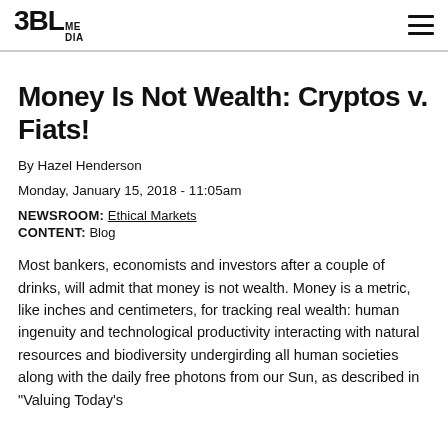3BL MEDIA
Money Is Not Wealth: Cryptos v. Fiats!
By Hazel Henderson
Monday, January 15, 2018 - 11:05am
NEWSROOM: Ethical Markets
CONTENT: Blog
Most bankers, economists and investors after a couple of drinks, will admit that money is not wealth. Money is a metric, like inches and centimeters, for tracking real wealth: human ingenuity and technological productivity interacting with natural resources and biodiversity undergirding all human societies along with the daily free photons from our Sun, as described in "Valuing Today's